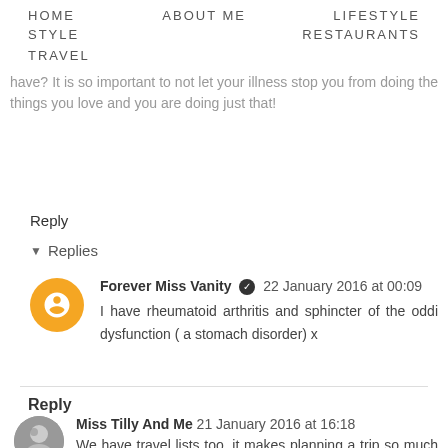HOME   ABOUT ME   LIFESTYLE   STYLE   RESTAURANTS   TRAVEL
Ana De-Jesus 21 January 2016 at 16:05
These are great tips would you mind me asking what illness you have? It is so important to not let your illness stop you from doing the things you love and you are doing just that!
Reply
▼ Replies
Forever Miss Vanity ✔ 22 January 2016 at 00:09
I have rheumatoid arthritis and sphincter of the oddi dysfunction ( a stomach disorder) x
Reply
Miss Tilly And Me 21 January 2016 at 16:18
We have travel lists too, it makes planning a trip so much easier